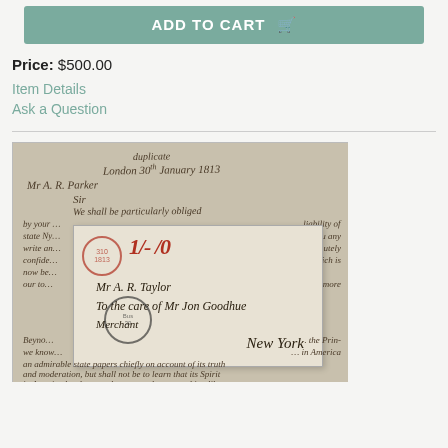ADD TO CART
Price: $500.00
Item Details
Ask a Question
[Figure (photo): Scan of a historical handwritten letter in cursive, dated London 30th January 1813, addressed to Mr. A.R. Parker, with an overlaid envelope addressed to Mr. A.R. Taylor, To the care of Mr. Jon Goodhue, Merchant, New York, bearing red ink postal markings and black circular cancellation stamp.]